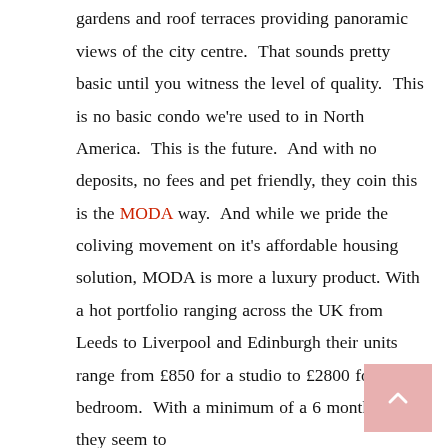residents' gym, cinema and games room, outside gardens and roof terraces providing panoramic views of the city centre. That sounds pretty basic until you witness the level of quality. This is no basic condo we're used to in North America. This is the future. And with no deposits, no fees and pet friendly, they coin this is the MODA way. And while we pride the coliving movement on it's affordable housing solution, MODA is more a luxury product. With a hot portfolio ranging across the UK from Leeds to Liverpool and Edinburgh their units range from £850 for a studio to £2800 for a three bedroom. With a minimum of a 6 month stay they seem to